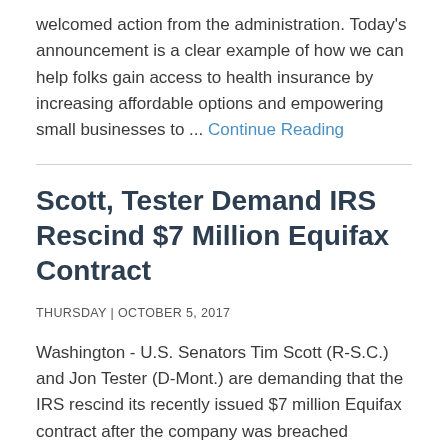welcomed action from the administration. Today's announcement is a clear example of how we can help folks gain access to health insurance by increasing affordable options and empowering small businesses to ... Continue Reading
Scott, Tester Demand IRS Rescind $7 Million Equifax Contract
THURSDAY | OCTOBER 5, 2017
Washington - U.S. Senators Tim Scott (R-S.C.) and Jon Tester (D-Mont.) are demanding that the IRS rescind its recently issued $7 million Equifax contract after the company was breached jeopardizing the personal financial data of more than 145 millio